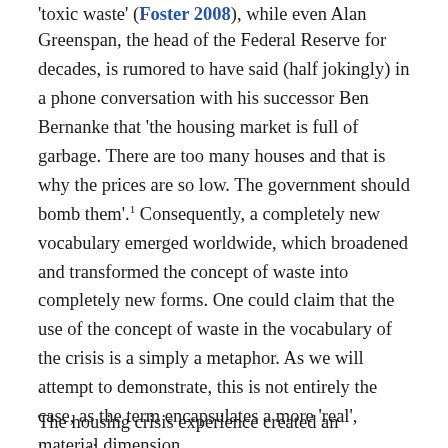'toxic waste' (Foster 2008), while even Alan Greenspan, the head of the Federal Reserve for decades, is rumored to have said (half jokingly) in a phone conversation with his successor Ben Bernanke that 'the housing market is full of garbage. There are too many houses and that is why the prices are so low. The government should bomb them'.¹ Consequently, a completely new vocabulary emerged worldwide, which broadened and transformed the concept of waste into completely new forms. One could claim that the use of the concept of waste in the vocabulary of the crisis is a simply a metaphor. As we will attempt to demonstrate, this is not entirely the case, as the term encapsulates a more 'real', material dimension.
The housing crisis experience created an interesting